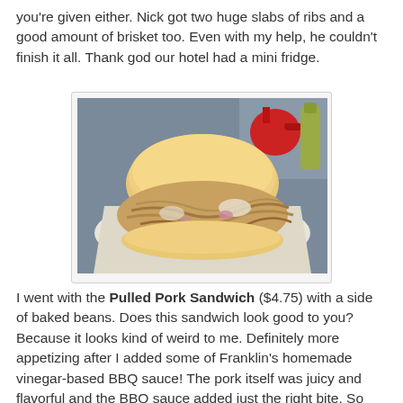you're given either. Nick got two huge slabs of ribs and a good amount of brisket too. Even with my help, he couldn't finish it all. Thank god our hotel had a mini fridge.
[Figure (photo): A pulled pork sandwich with coleslaw on white bread, wrapped in wax paper, on a table with condiment bottles in the background.]
I went with the Pulled Pork Sandwich ($4.75) with a side of baked beans. Does this sandwich look good to you? Because it looks kind of weird to me. Definitely more appetizing after I added some of Franklin's homemade vinegar-based BBQ sauce! The pork itself was juicy and flavorful and the BBQ sauce added just the right bite. So